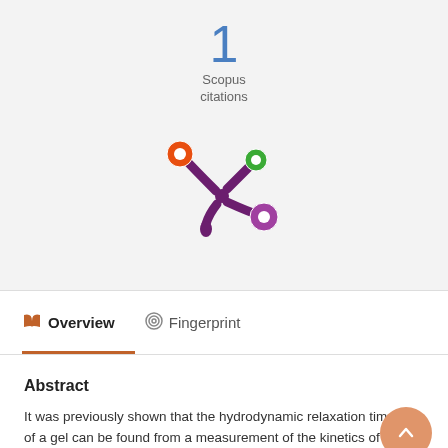1
Scopus
citations
[Figure (logo): Altmetric logo — purple asterisk-like shape with colored circles at tips (orange, green, purple)]
Overview   Fingerprint
Abstract
It was previously shown that the hydrodynamic relaxation time, T, of a gel can be found from a measurement of the kinetics of